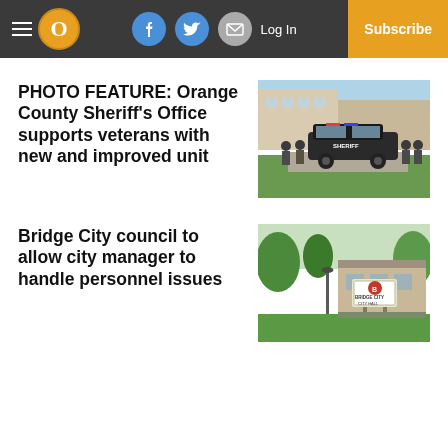O  Log In  Subscribe
PHOTO FEATURE: Orange County Sheriff's Office supports veterans with new and improved unit
[Figure (photo): Group of sheriff's office personnel standing in front of a patrol vehicle outside a building]
Bridge City council to allow city manager to handle personnel issues
[Figure (photo): Bridge City City Hall sign in front of a building with trees and lawn]